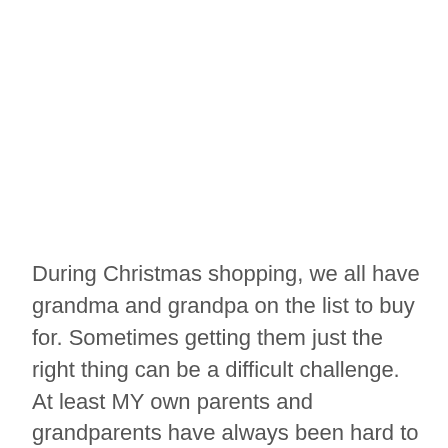During Christmas shopping, we all have grandma and grandpa on the list to buy for. Sometimes getting them just the right thing can be a difficult challenge. At least MY own parents and grandparents have always been hard to shop for. I prefer to buy them gifts that are useful. Things they wouldn't normally buy for themselves.